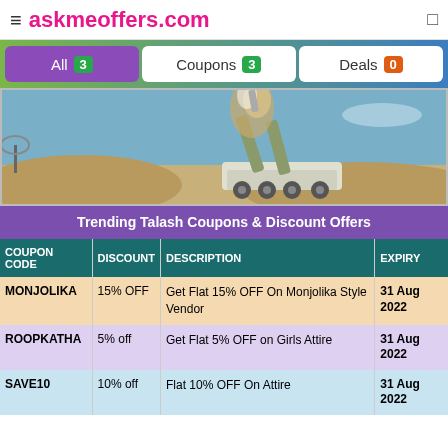≡ askmeoffers.com
All 3   Coupons 3   Deals 0
[Figure (photo): A military missile launcher vehicle on sandy terrain with smoke/fire from a launched missile. A radar dish is visible on the left.]
Trending Talash Coupons & Discount Offers
| COUPON CODE | DISCOUNT | DESCRIPTION | EXPIRY |
| --- | --- | --- | --- |
| MONJOLIKA | 15% OFF | Get Flat 15% OFF On Monjolika Style Vendor | 31 Aug 2022 |
| ROOPKATHA | 5% off | Get Flat 5% OFF on Girls Attire | 31 Aug 2022 |
| SAVE10 | 10% off | Flat 10% OFF On Attire | 31 Aug 2022 |